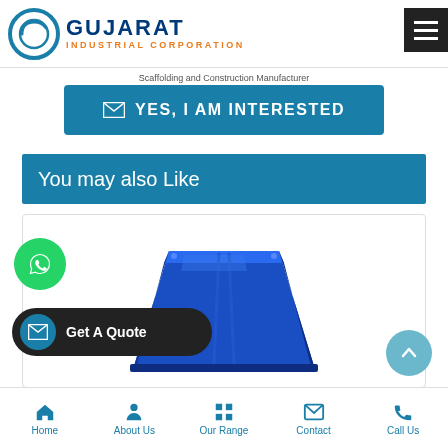Gujarat Industrial Corporation
Scaffolding and Construction Manufacturer
✉ YES, I AM INTERESTED
You may also Like
[Figure (photo): Blue metal industrial pallet or platform product shown against white background]
Get A Quote
Home  About Us  Our Range  Contact  Call Us